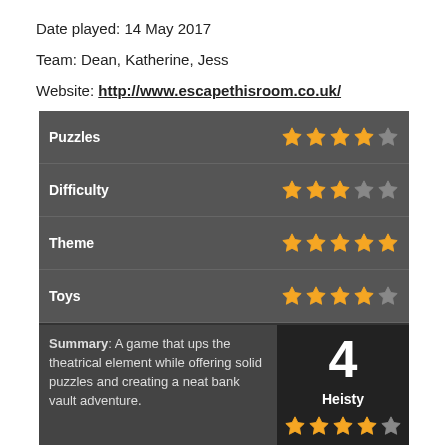Date played: 14 May 2017
Team: Dean, Katherine, Jess
Website: http://www.escapethisroom.co.uk/
| Category | Rating |
| --- | --- |
| Puzzles | 4/5 stars |
| Difficulty | 3/5 stars |
| Theme | 5/5 stars |
| Toys | 4/5 stars |
| Summary | A game that ups the theatrical element while offering solid puzzles and creating a neat bank vault adventure. |
| Score | 4 Heisty, 4/5 stars |
Tags: London